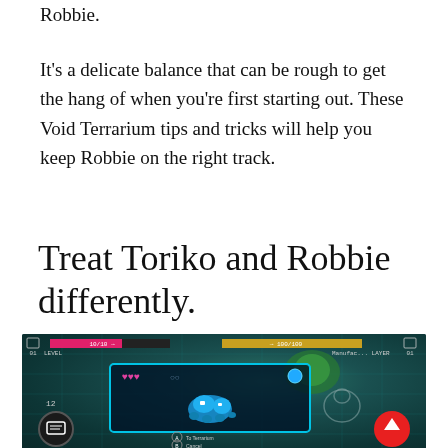Robbie.
It's a delicate balance that can be rough to get the hang of when you're first starting out. These Void Terrarium tips and tricks will help you keep Robbie on the right track.
Treat Toriko and Robbie differently.
[Figure (screenshot): Void Terrarium game screenshot showing a character selection or status screen with HUD elements including HP bar, XP bar, level indicator, a dialog box with a blue creature character, heart icons, and game UI buttons at the bottom.]